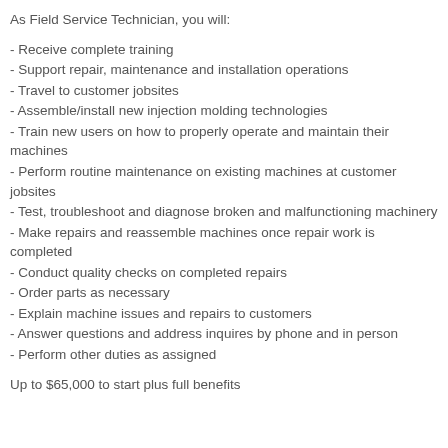As Field Service Technician, you will:
- Receive complete training
- Support repair, maintenance and installation operations
- Travel to customer jobsites
- Assemble/install new injection molding technologies
- Train new users on how to properly operate and maintain their machines
- Perform routine maintenance on existing machines at customer jobsites
- Test, troubleshoot and diagnose broken and malfunctioning machinery
- Make repairs and reassemble machines once repair work is completed
- Conduct quality checks on completed repairs
- Order parts as necessary
- Explain machine issues and repairs to customers
- Answer questions and address inquires by phone and in person
- Perform other duties as assigned
Up to $65,000 to start plus full benefits